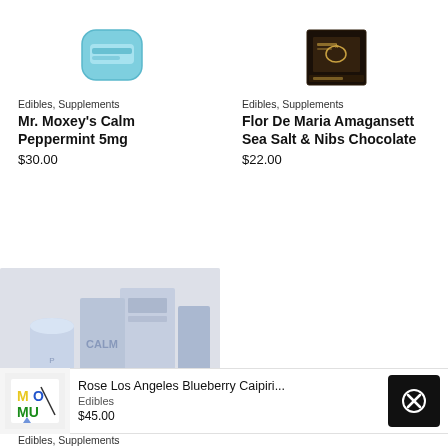[Figure (photo): Product image of Mr. Moxey's Calm Peppermint 5mg - teal/blue rectangular tin]
[Figure (photo): Product image of Flor De Maria Amagansett Sea Salt & Nibs Chocolate - dark box with gold label]
Edibles, Supplements
Mr. Moxey's Calm Peppermint 5mg
$30.00
Edibles, Supplements
Flor De Maria Amagansett Sea Salt & Nibs Chocolate
$22.00
[Figure (photo): Product image of CALM brand - light blue cylindrical container and packaging boxes on grey background]
[Figure (photo): Small thumbnail of Rose Los Angeles product with colorful illustrated packaging]
Rose Los Angeles Blueberry Caipiri...
Edibles
$45.00
Edibles, Supplements